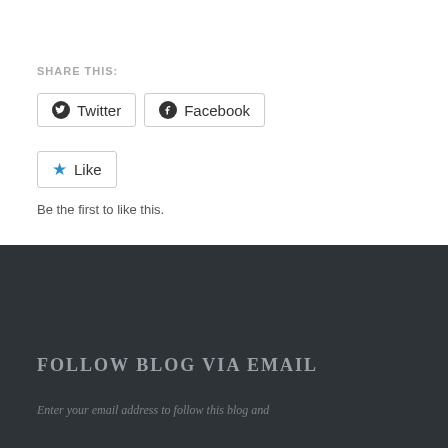SHARE THIS:
Twitter
Facebook
Like
Be the first to like this.
FOLLOW BLOG VIA EMAIL
Enter your email address to follow this blog and...